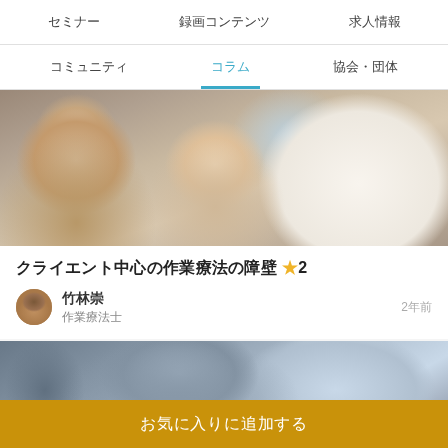セミナー　録画コンテンツ　求人情報
コミュニティ　コラム　協会・団体
[Figure (photo): Elderly man with white beard and glasses holding hands with a caregiver or therapist, with an elderly woman in yellow shirt in background]
クライエント中心の作業療法の障壁 ★2
竹林崇
作業療法士
2年前
[Figure (photo): Partial view of two people in suits with hands clasped or shaking hands over a table]
お気に入りに追加する